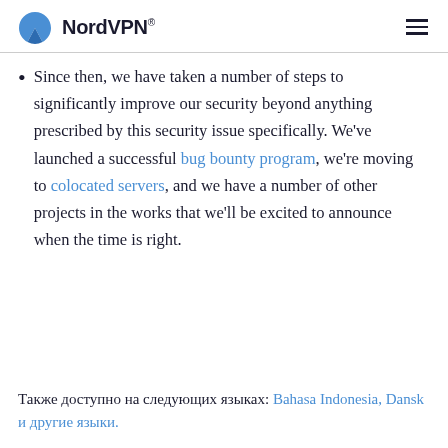NordVPN®
Since then, we have taken a number of steps to significantly improve our security beyond anything prescribed by this security issue specifically. We've launched a successful bug bounty program, we're moving to colocated servers, and we have a number of other projects in the works that we'll be excited to announce when the time is right.
Также доступно на следующих языках: Bahasa Indonesia, Dansk и другие языки.